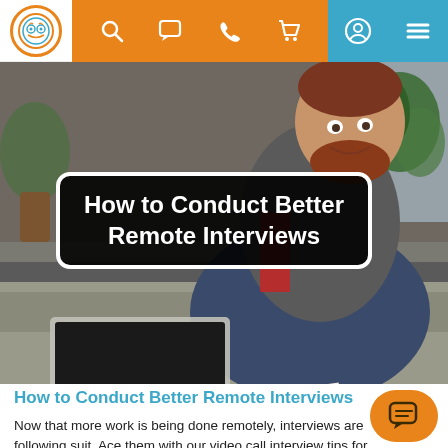Navigation bar with logo, search, chat, call, cart icons, user account and menu
[Figure (photo): Man with red beard smiling, sitting on a couch working on a laptop in a home/office setting with plants in background]
How to Conduct Better Remote Interviews
How to Conduct Better Remote Interviews
Now that more work is being done remotely, interviews are following suit. Ace them with our video call interview tips for